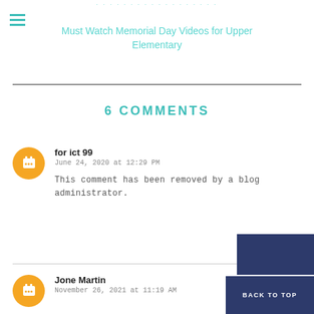Must Watch Memorial Day Videos for Upper Elementary
6 COMMENTS
for ict 99
June 24, 2020 at 12:29 PM
This comment has been removed by a blog administrator.
Jone Martin
November 26, 2021 at 11:19 AM